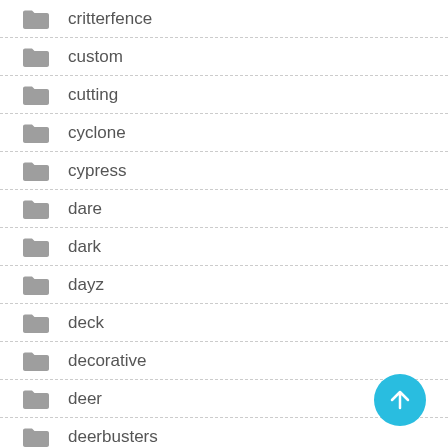critterfence
custom
cutting
cyclone
cypress
dare
dark
dayz
deck
decorative
deer
deerbusters
delry (partial)